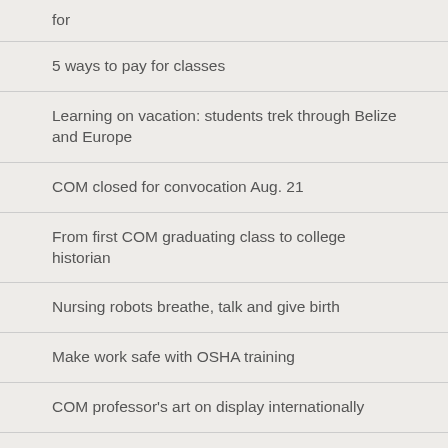for
5 ways to pay for classes
Learning on vacation: students trek through Belize and Europe
COM closed for convocation Aug. 21
From first COM graduating class to college historian
Nursing robots breathe, talk and give birth
Make work safe with OSHA training
COM professor's art on display internationally
COM students gives women's shelter day of pampering